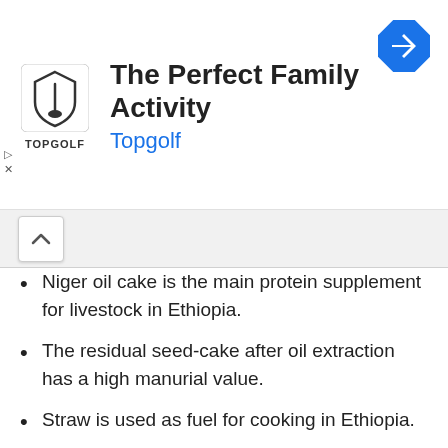[Figure (screenshot): Topgolf advertisement banner showing logo, title 'The Perfect Family Activity', subtitle 'Topgolf', and a blue navigation arrow icon on the right. Ad controls (play and close) on the left side.]
Niger oil cake is the main protein supplement for livestock in Ethiopia.
The residual seed-cake after oil extraction has a high manurial value.
Straw is used as fuel for cooking in Ethiopia.
A paste or gruel made from ground Niger seed, mixed with ground flaxseeds (Amharic: talvah), is traditionally used in Ethiopia in treating leather.